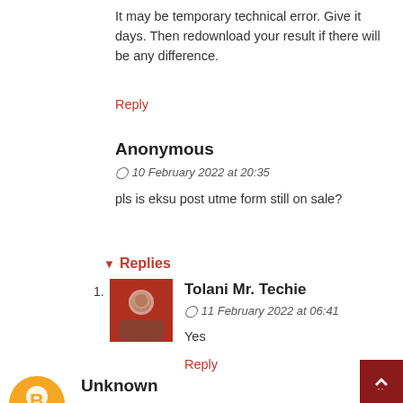It may be temporary technical error. Give it days. Then redownload your result if there will be any difference.
Reply
Anonymous
10 February 2022 at 20:35
pls is eksu post utme form still on sale?
Reply
Replies
Tolani Mr. Techie
11 February 2022 at 06:41
Yes
Reply
Unknown
10 February 2022 at 20:38
Good evening. I applied for eksu and screened with